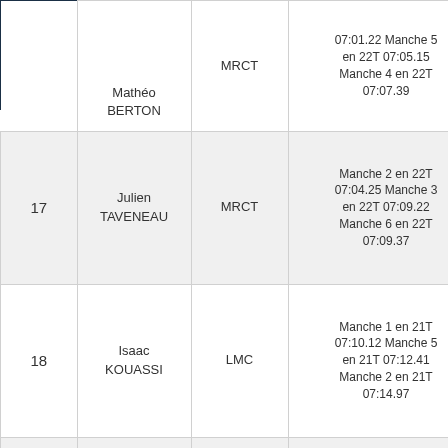|  | Nom | Club | Détail manches |
| --- | --- | --- | --- |
|  | Mathéo BERTON | MRCT | 07:01.22 Manche 5 en 22T 07:05.15 Manche 4 en 22T 07:07.39 |
| 17 | Julien TAVENEAU | MRCT | Manche 2 en 22T 07:04.25 Manche 3 en 22T 07:09.22 Manche 6 en 22T 07:09.37 |
| 18 | Isaac KOUASSI | LMC | Manche 1 en 21T 07:10.12 Manche 5 en 21T 07:12.41 Manche 2 en 21T 07:14.97 |
| 19 | Laurent FOURNEAU | MRCT | Manche 2 en 22T 07:20.90 Manche 6 en 21T 07:02.4… Manche 4 en 20T |